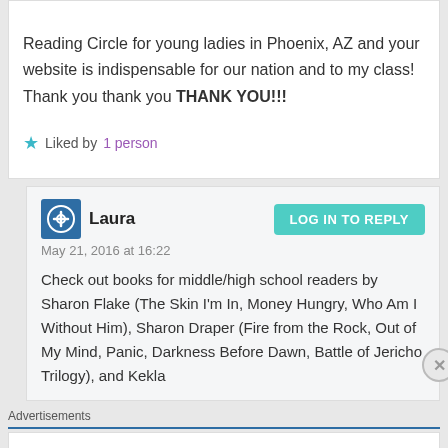Reading Circle for young ladies in Phoenix, AZ and your website is indispensable for our nation and to my class! Thank you thank you THANK YOU!!!
Liked by 1 person
Laura
May 21, 2016 at 16:22
Check out books for middle/high school readers by Sharon Flake (The Skin I'm In, Money Hungry, Who Am I Without Him), Sharon Draper (Fire from the Rock, Out of My Mind, Panic, Darkness Before Dawn, Battle of Jericho Trilogy), and Kekla
Advertisements
ThePlatform Where WordPress Works Best
Pressable